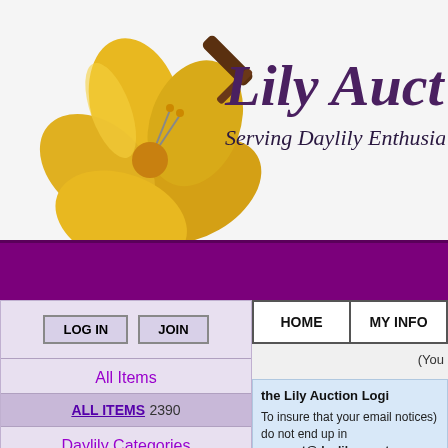[Figure (logo): Lily Auction logo with yellow hibiscus flower and gavel, text 'Lily Auction' in purple serif font, tagline 'Serving Daylily Enthusiasts Since 1995' in dark italic]
LOG IN
JOIN
All Items
ALL ITEMS 2390
Daylily Categories
2020+ INTROS 432
UNDER 7 17
7 UNDER 20 426
20 & OVER 313
HOME
MY INFO
(You
the Lily Auction Logi
To insure that your email notices) do not end up in support@daylily.com to
Username
Password